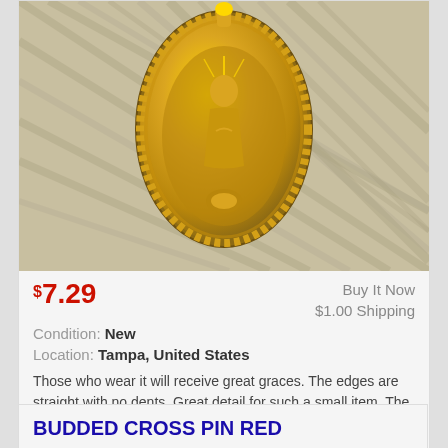[Figure (photo): Close-up photo of a gold religious medal/pin showing a figure (likely Virgin Mary) in an oval frame with ornate beaded border, photographed against a striped fabric background]
$7.29
Buy It Now
$1.00 Shipping
Condition: New
Location: Tampa, United States
Those who wear it will receive great graces. The edges are straight with no dents. Great detail for such a small item. The pin on the back is straight ...
more
BUDDED CROSS PIN RED